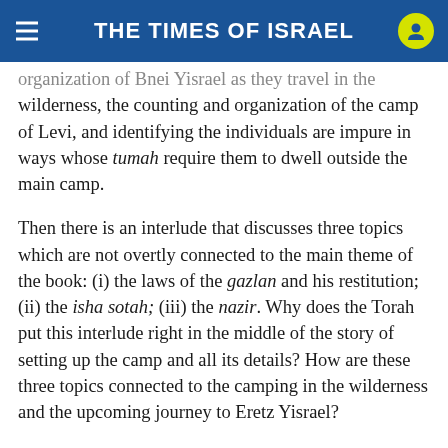THE TIMES OF ISRAEL
organization of Bnei Yisrael as they travel in the wilderness, the counting and organization of the camp of Levi, and identifying the individuals are impure in ways whose tumah require them to dwell outside the main camp.
Then there is an interlude that discusses three topics which are not overtly connected to the main theme of the book: (i) the laws of the gazlan and his restitution; (ii) the isha sotah; (iii) the nazir. Why does the Torah put this interlude right in the middle of the story of setting up the camp and all its details? How are these three topics connected to the camping in the wilderness and the upcoming journey to Eretz Yisrael?